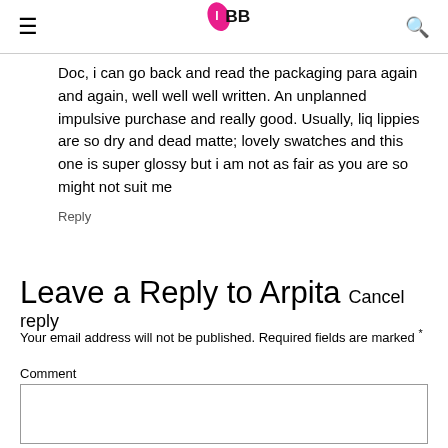IMBB
Doc, i can go back and read the packaging para again and again, well well well written. An unplanned impulsive purchase and really good. Usually, liq lippies are so dry and dead matte; lovely swatches and this one is super glossy but i am not as fair as you are so might not suit me
Reply
Leave a Reply to Arpita Cancel reply
Your email address will not be published. Required fields are marked *
Comment